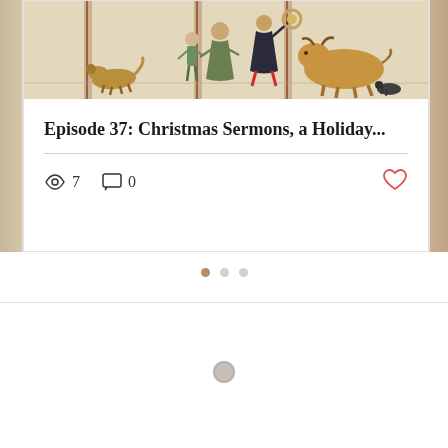[Figure (illustration): Medieval manuscript illumination showing figures in a scene with animals including cattle and dogs, against a parchment-colored background. Figures appear to be exchanging or handling objects, with stylized trees in background.]
Episode 37: Christmas Sermons, a Holiday...
Views: 7  Comments: 0  Like button